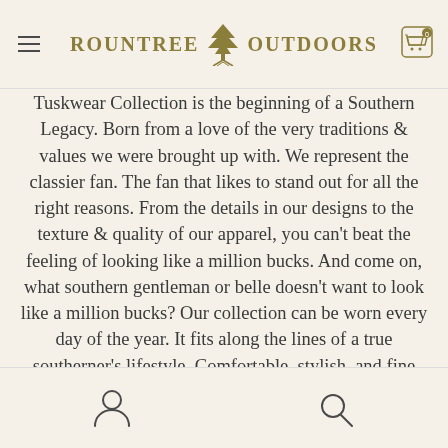ROUNTREE OUTDOORS
Tuskwear Collection is the beginning of a Southern Legacy. Born from a love of the very traditions & values we were brought up with. We represent the classier fan. The fan that likes to stand out for all the right reasons. From the details in our designs to the texture & quality of our apparel, you can't beat the feeling of looking like a million bucks. And come on, what southern gentleman or belle doesn't want to look like a million bucks? Our collection can be worn every day of the year. It fits along the lines of a true southerner's lifestyle. Comfortable, stylish, and fine quality apparel that is timeless and effortless. Tuskwear Collection adds just the right amount of Southern Charm to the True Fan's Southern Lifestyle.
user icon, search icon